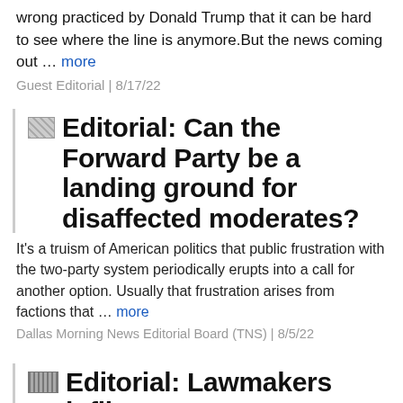wrong practiced by Donald Trump that it can be hard to see where the line is anymore.But the news coming out … more
Guest Editorial | 8/17/22
Editorial: Can the Forward Party be a landing ground for disaffected moderates?
It's a truism of American politics that public frustration with the two-party system periodically erupts into a call for another option. Usually that frustration arises from factions that … more
Dallas Morning News Editorial Board (TNS) | 8/5/22
Editorial: Lawmakers inflict